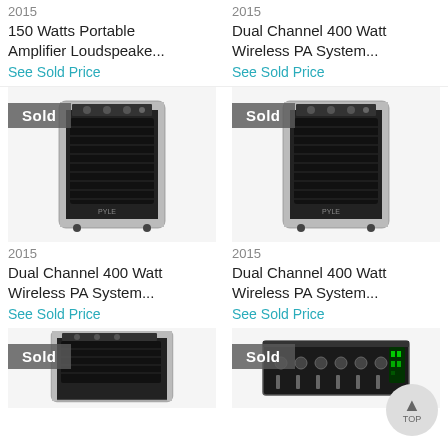2015
150 Watts Portable Amplifier Loudspeake...
See Sold Price
2015
Dual Channel 400 Watt Wireless PA System...
See Sold Price
[Figure (photo): Portable PA speaker/amplifier with Sold badge overlay, black with silver trim]
[Figure (photo): Portable PA speaker/amplifier with Sold badge overlay, black with silver trim]
2015
Dual Channel 400 Watt Wireless PA System...
See Sold Price
2015
Dual Channel 400 Watt Wireless PA System...
See Sold Price
[Figure (photo): Partial view of portable PA speaker with Sold badge, bottom of page]
[Figure (photo): Partial view of audio equipment/mixer with Sold badge, bottom of page]